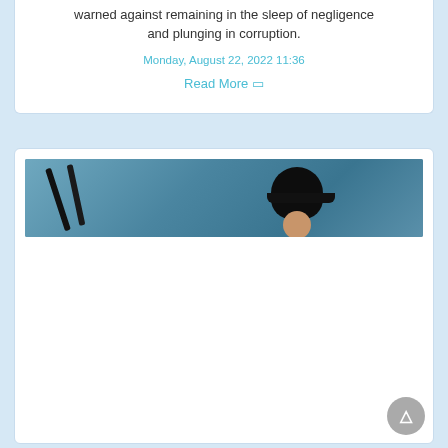warned against remaining in the sleep of negligence and plunging in corruption.
Monday, August 22, 2022 11:36
Read More 🔲
[Figure (photo): A cropped photo strip showing a person wearing a dark cap, with dark stick-like objects on the left, against a teal/blue background.]